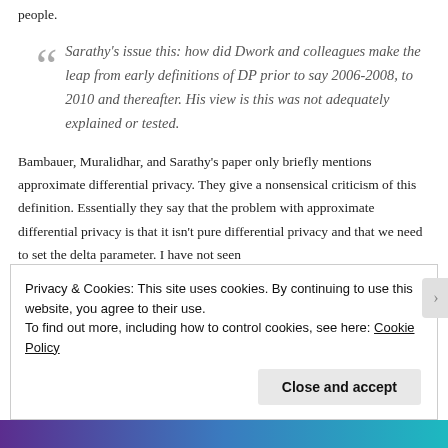people.
Sarathy's issue this: how did Dwork and colleagues make the leap from early definitions of DP prior to say 2006-2008, to 2010 and thereafter. His view is this was not adequately explained or tested.
Bambauer, Muralidhar, and Sarathy's paper only briefly mentions approximate differential privacy. They give a nonsensical criticism of this definition. Essentially they say that the problem with approximate differential privacy is that it isn't pure differential privacy and that we need to set the delta parameter. I have not seen
Privacy & Cookies: This site uses cookies. By continuing to use this website, you agree to their use.
To find out more, including how to control cookies, see here: Cookie Policy
Close and accept